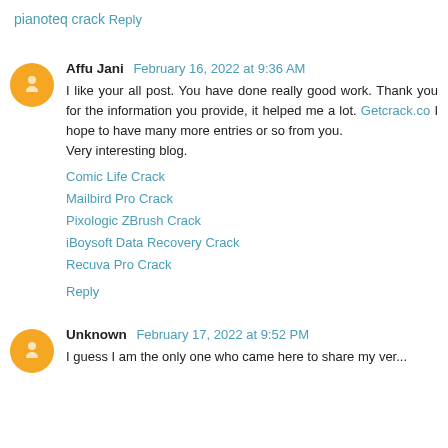pianoteq crack
Reply
Affu Jani  February 16, 2022 at 9:36 AM
I like your all post. You have done really good work. Thank you for the information you provide, it helped me a lot. Getcrack.co I hope to have many more entries or so from you.
Very interesting blog.
Comic Life Crack
Mailbird Pro Crack
Pixologic ZBrush Crack
iBoysoft Data Recovery Crack
Recuva Pro Crack
Reply
Unknown  February 17, 2022 at 9:52 PM
I guess I am the only one who came here to share my ver...